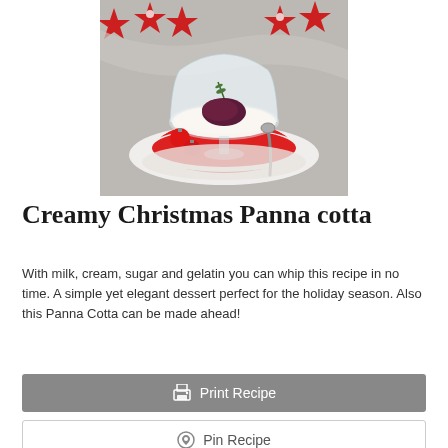[Figure (photo): A creamy panna cotta dessert in a glass bowl with dark berry topping and rosemary sprig, served on a red plate with Christmas ornaments and decorations in background]
Creamy Christmas Panna cotta
With milk, cream, sugar and gelatin you can whip this recipe in no time. A simple yet elegant dessert perfect for the holiday season. Also this Panna Cotta can be made ahead!